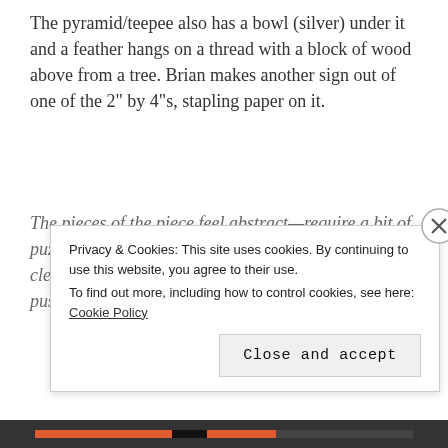The pyramid/teepee also has a bowl (silver) under it and a feather hangs on a thread with a block of wood above from a tree. Brian makes another sign out of one of the 2" by 4"s, stapling paper on it.
The pieces of the piece feel abstract—require a bit of puzzling together—but then it becomes abundantly clear: water is teetering in the balance. Mankind is pushing its limits.
Privacy & Cookies: This site uses cookies. By continuing to use this website, you agree to their use.
To find out more, including how to control cookies, see here: Cookie Policy
Close and accept